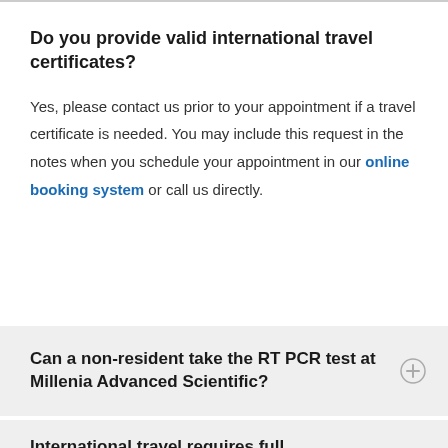Do you provide valid international travel certificates?
Yes, please contact us prior to your appointment if a travel certificate is needed. You may include this request in the notes when you schedule your appointment in our online booking system or call us directly.
Can a non-resident take the RT PCR test at Millenia Advanced Scientific?
International travel requires full